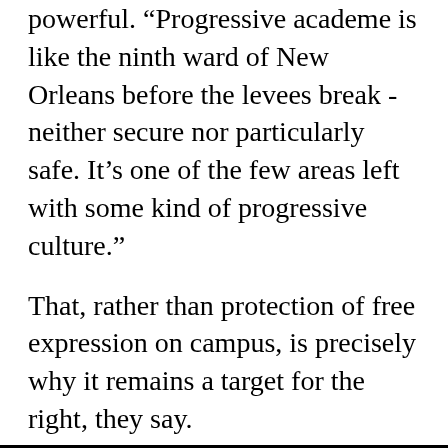powerful. "Progressive academe is like the ninth ward of New Orleans before the levees break - neither secure nor particularly safe. It's one of the few areas left with some kind of progressive culture."
That, rather than protection of free expression on campus, is precisely why it remains a target for the right, they say.
In February, Horowitz published a book, The Professors: the 101 Most Dangerous Academics in America, in which he lists, in alphabetical order, the radical academics whom he believes are polluting academe with leftwing propaganda. "Coming to a campus near you: terrorists, racists, and communists - you know them as The